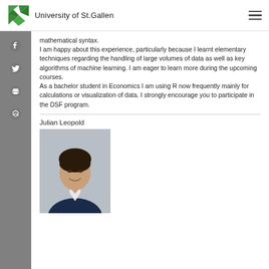University of St.Gallen
mathematical syntax.
I am happy about this experience, particularly because I learnt elementary techniques regarding the handling of large volumes of data as well as key algorithms of machine learning. I am eager to learn more during the upcoming courses.
As a bachelor student in Economics I am using R now frequently mainly for calculations or visualization of data. I strongly encourage you to participate in the DSF program.
Julian Leopold
[Figure (photo): Headshot photo of Julian Leopold, a young man in a dark suit with a white shirt, smiling, with dark hair.]